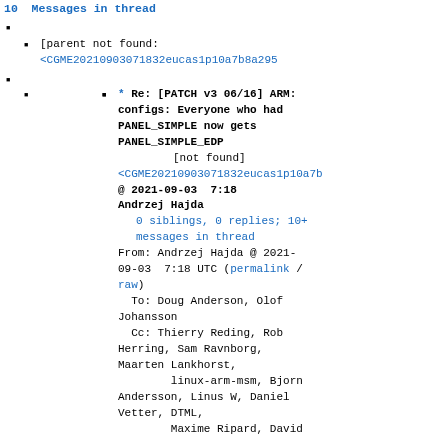10  Messages in thread
[parent not found: <CGME20210903071832eucas1p10a7b8a295...
* Re: [PATCH v3 06/16] ARM: configs: Everyone who had PANEL_SIMPLE now gets PANEL_SIMPLE_EDP
[not found]
<CGME20210903071832eucas1p10a7b...
@ 2021-09-03  7:18  Andrzej Hajda
0 siblings, 0 replies; 10+ messages in thread
From: Andrzej Hajda @ 2021-09-03  7:18 UTC (permalink / raw)
To: Doug Anderson, Olof Johansson
Cc: Thierry Reding, Rob Herring, Sam Ravnborg, Maarten Lankhorst, linux-arm-msm, Bjorn Andersson, Linus W, Daniel Vetter, DTML, Maxime Ripard, David